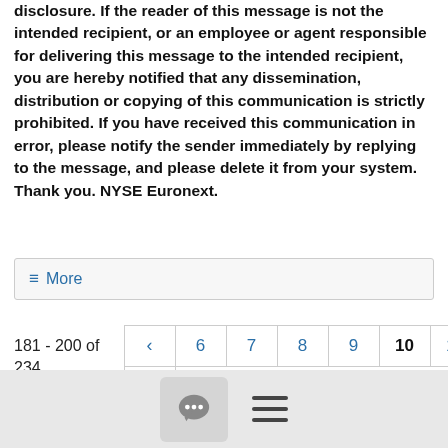disclosure. If the reader of this message is not the intended recipient, or an employee or agent responsible for delivering this message to the intended recipient, you are hereby notified that any dissemination, distribution or copying of this communication is strictly prohibited. If you have received this communication in error, please notify the sender immediately by replying to the message, and please delete it from your system. Thank you. NYSE Euronext.
≡ More
181 - 200 of 234
[Figure (other): Pagination control with page numbers 6, 7, 8, 9, 10 (active/bold), 11, 12 and forward/back arrow buttons. Currently on page 10 of results 181-200 of 234.]
[Figure (other): Footer bar with a chat bubble icon button and a hamburger menu icon.]